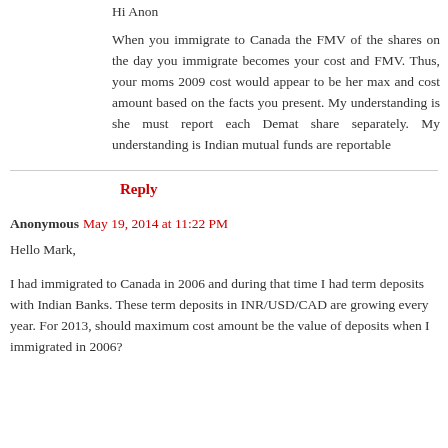Hi Anon
When you immigrate to Canada the FMV of the shares on the day you immigrate becomes your cost and FMV. Thus, your moms 2009 cost would appear to be her max and cost amount based on the facts you present. My understanding is she must report each Demat share separately. My understanding is Indian mutual funds are reportable
Reply
Anonymous May 19, 2014 at 11:22 PM
Hello Mark,
I had immigrated to Canada in 2006 and during that time I had term deposits with Indian Banks. These term deposits in INR/USD/CAD are growing every year. For 2013, should maximum cost amount be the value of deposits when I immigrated in 2006?